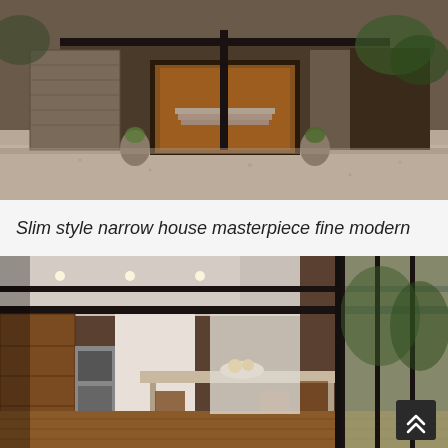[Figure (photo): Exterior view of a slim modern narrow house with gravel driveway, concrete columns, glass entry, and warm evening lighting]
Slim style narrow house masterpiece fine modern
[Figure (photo): Interior view of a modern open-plan kitchen and dining area with wood cabinetry, floor-to-ceiling glass walls, steel structural beams, and a long dining table with chairs]